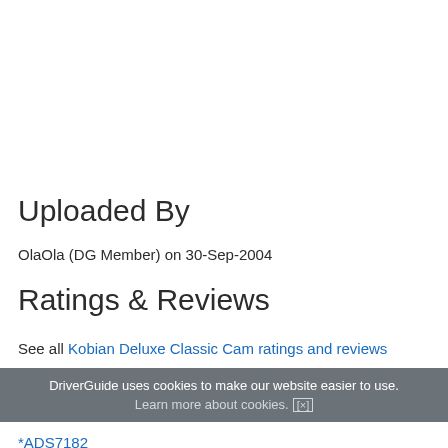Uploaded By
OlaOla (DG Member) on 30-Sep-2004
Ratings & Reviews
See all Kobian Deluxe Classic Cam ratings and reviews
DriverGuide uses cookies to make our website easier to use. Learn more about cookies. [x]
Device Hardware IDs
*ADS7182